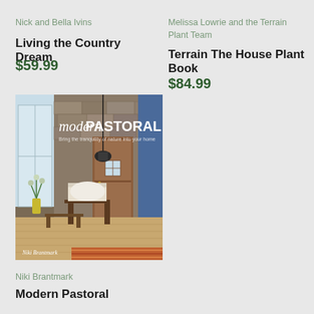Nick and Bella Ivins
Living the Country Dream
$59.99
Melissa Lowrie and the Terrain Plant Team
Terrain The House Plant Book
$84.99
[Figure (photo): Book cover of 'modern PASTORAL' by Niki Brantmark showing a rustic interior with stone walls, wooden furniture, a rocking chair with sheepskin, and a window with natural light]
Niki Brantmark
Modern Pastoral